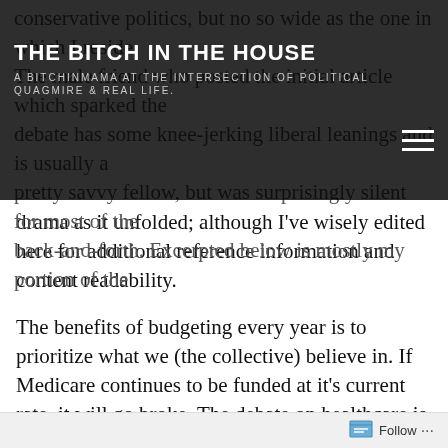THE BITCH IN THE HOUSE
A BITCHINMAMA AT THE INTERSECTION OF POLITICAL QUAGMIRE & REAL LIFE.
drama as it unfolded; although I've wisely edited here for additional reference information and content readability.
The benefits of budgeting every year is to prioritize what we (the collective) believe in. If Medicare continues to be funded at it's current rate, it will go broke. The debate on healthcare is an effort to determine what most Americans are willing to pay for (what we believe in). Do I want a military-style form of healthcare coverage like some people I know have experienced? Hell no! But I do want everyone to be able to see a doctor in this country. You are damn right that I do! In the world today, if we want to claim some worldwide leadership status then we have to address the needs of
Follow